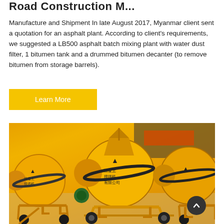Road Construction M...
Manufacture and Shipment In late August 2017, Myanmar client sent a quotation for an asphalt plant. According to client's requirements, we suggested a LB500 asphalt batch mixing plant with water dust filter, 1 bitumen tank and a drummed bitumen decanter (to remove bitumen from storage barrels).
Learn More
[Figure (photo): Yellow concrete mixer / cement mixing machines (drum-type) on wheeled chassis parked in an industrial facility yard. Multiple mixers visible, with orange-yellow painted drums and black gear rings. Background shows warehouse structure and colorful shipping containers.]